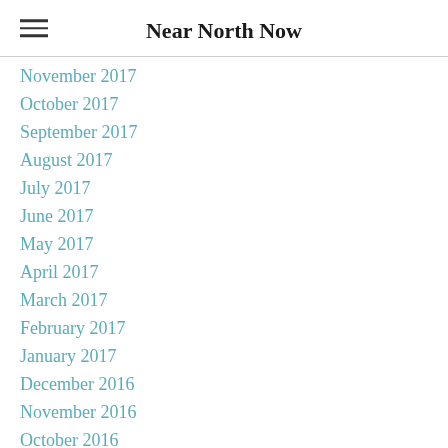Near North Now
November 2017
October 2017
September 2017
August 2017
July 2017
June 2017
May 2017
April 2017
March 2017
February 2017
January 2017
December 2016
November 2016
October 2016
September 2016
August 2016
July 2016